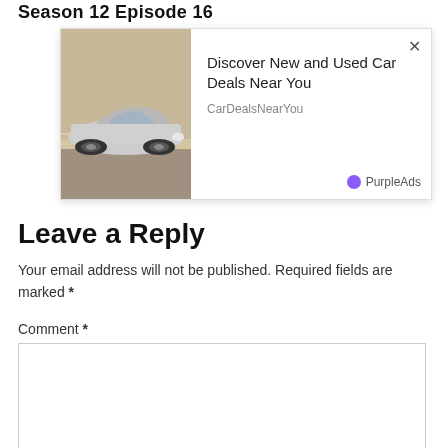Season 12 Episode 16
[Figure (screenshot): Advertisement popup showing a silver/grey sedan car on a desert road with text 'Discover New and Used Car Deals Near You', source 'CarDealsNearYou', and 'PurpleAds' branding with purple dot, and an X close button.]
Leave a Reply
Your email address will not be published. Required fields are marked *
Comment *